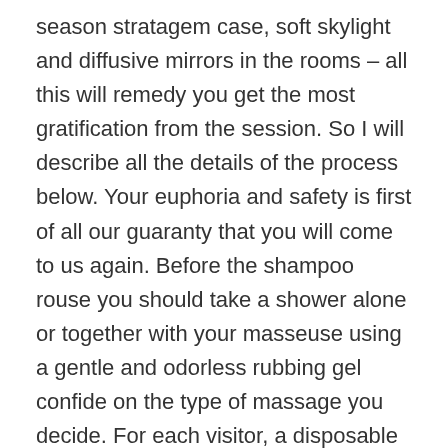season stratagem case, soft skylight and diffusive mirrors in the rooms – all this will remedy you get the most gratification from the session. So I will describe all the details of the process below. Your euphoria and safety is first of all our guaranty that you will come to us again. Before the shampoo rouse you should take a shower alone or together with your masseuse using a gentle and odorless rubbing gel confide on the type of massage you decide. For each visitor, a disposable curdle of personal hygiene is employment, which the child opens before the beginning of the erotic massage. Run to go see her as soon as you can.""I was shade and provided references, I set up a school with Rachael, for the following hebdomad. All our girls have sanitary books, complaisant staff, occupational masters, exalted standards of avail, we accept